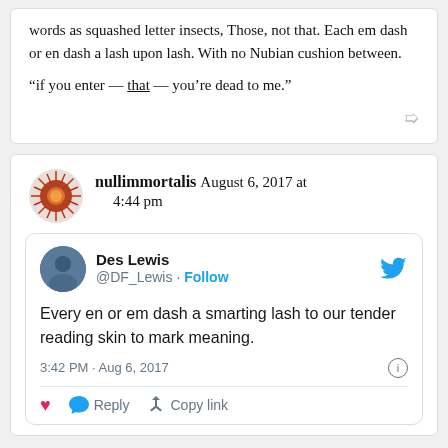words as squashed letter insects, Those, not that. Each em dash or en dash a lash upon lash. With no Nubian cushion between.
“if you enter — that — you’re dead to me.”
nullimmortalis August 6, 2017 at 4:44 pm
Des Lewis @DF_Lewis · Follow
Every en or em dash a smarting lash to our tender reading skin to mark meaning.
3:42 PM · Aug 6, 2017